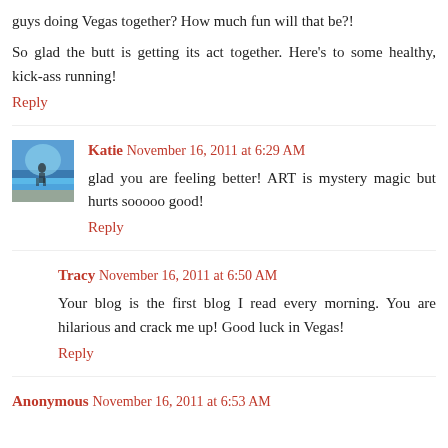guys doing Vegas together? How much fun will that be?!
So glad the butt is getting its act together. Here's to some healthy, kick-ass running!
Reply
Katie  November 16, 2011 at 6:29 AM
glad you are feeling better! ART is mystery magic but hurts sooooo good!
Reply
Tracy  November 16, 2011 at 6:50 AM
Your blog is the first blog I read every morning. You are hilarious and crack me up! Good luck in Vegas!
Reply
Anonymous  November 16, 2011 at 6:53 AM